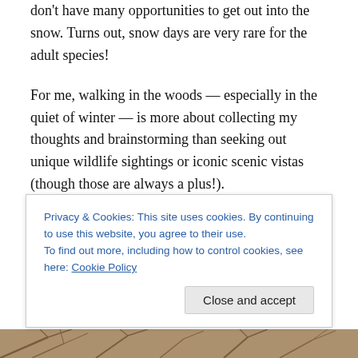don't have many opportunities to get out into the snow. Turns out, snow days are very rare for the adult species!
For me, walking in the woods — especially in the quiet of winter — is more about collecting my thoughts and brainstorming than seeking out unique wildlife sightings or iconic scenic vistas (though those are always a plus!).
There are many trails that are easy winners for sight-seeing and sharing with out-of-town family and friends, but I also have a closely-guarded short list of equally beloved trails which I visit solely for stepping into the woods and letting go
Privacy & Cookies: This site uses cookies. By continuing to use this website, you agree to their use.
To find out more, including how to control cookies, see here: Cookie Policy
[Figure (photo): Bottom strip showing winter tree branches, partially visible]